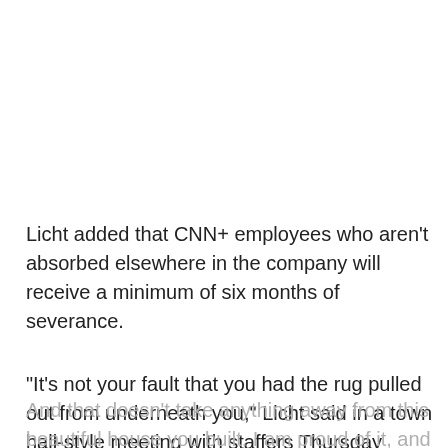Licht added that CNN+ employees who aren't absorbed elsewhere in the company will receive a minimum of six months of severance.
“It’s not your fault that you had the rug pulled out from underneath you,” Licht said in a town hall-style meeting with staffers Thursday morning, before comparing CNN+ to a residential property that had been built without the input of its intended owner. “The new owner came in and said: ‘What a beautiful house! But I need an apartment.
And that doesn’t take anything away from this beautiful house you built. I am proud of it, and I am proud of this